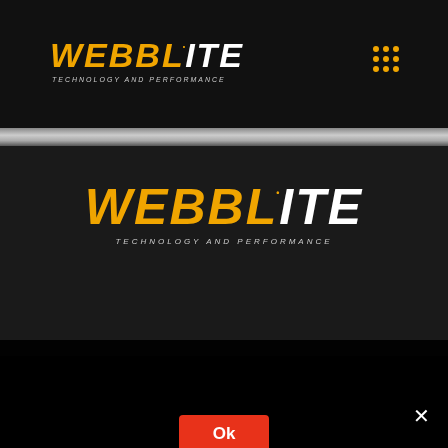[Figure (logo): WebbLite Technology and Performance logo in header bar, text WEBB in orange/gold italic bold, LITE in white italic bold, with orange dot above the i, tagline TECHNOLOGY AND PERFORMANCE below]
[Figure (infographic): 3x3 grid of orange/gold dots icon (menu icon) in top right of header]
[Figure (logo): WebbLite Technology and Performance logo centered in dark middle section, larger version, text WEBB in orange/gold italic bold, LITE in white italic bold, with orange dot above the i, tagline TECHNOLOGY AND PERFORMANCE below]
We use cookies to ensure that we give you the best experience on our website. If you continue to use this site we will assume that you are happy with it.
Ok
×